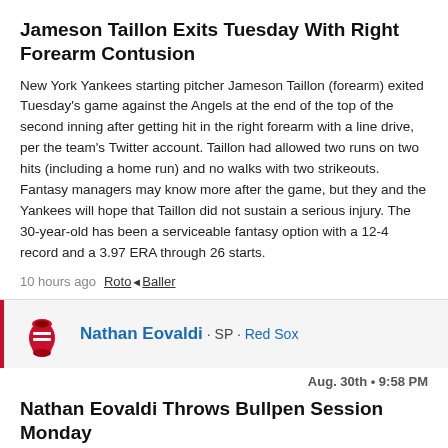Jameson Taillon Exits Tuesday With Right Forearm Contusion
New York Yankees starting pitcher Jameson Taillon (forearm) exited Tuesday's game against the Angels at the end of the top of the second inning after getting hit in the right forearm with a line drive, per the team's Twitter account. Taillon had allowed two runs on two hits (including a home run) and no walks with two strikeouts. Fantasy managers may know more after the game, but they and the Yankees will hope that Taillon did not sustain a serious injury. The 30-year-old has been a serviceable fantasy option with a 12-4 record and a 3.97 ERA through 26 starts.
10 hours ago  RotoBaller
[Figure (logo): Boston Red Sox logo - red sock illustration]
Nathan Eovaldi · SP · Red Sox
Aug. 30th · 9:58 PM
Nathan Eovaldi Throws Bullpen Session Monday
Boston Red Sox pitcher Nathan Eovaldi (shoulder) threw another bullpen session Monday. He reportedly felt good after Monday's session and has thrown back-to-back